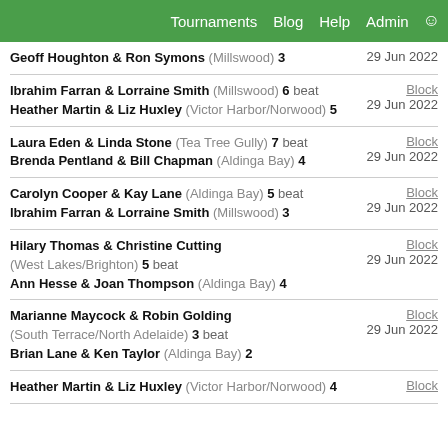Tournaments | Blog | Help | Admin
Geoff Houghton & Ron Symons (Millswood) 3 — 29 Jun 2022
Ibrahim Farran & Lorraine Smith (Millswood) 6 beat Heather Martin & Liz Huxley (Victor Harbor/Norwood) 5 — Block — 29 Jun 2022
Laura Eden & Linda Stone (Tea Tree Gully) 7 beat Brenda Pentland & Bill Chapman (Aldinga Bay) 4 — Block — 29 Jun 2022
Carolyn Cooper & Kay Lane (Aldinga Bay) 5 beat Ibrahim Farran & Lorraine Smith (Millswood) 3 — Block — 29 Jun 2022
Hilary Thomas & Christine Cutting (West Lakes/Brighton) 5 beat Ann Hesse & Joan Thompson (Aldinga Bay) 4 — Block — 29 Jun 2022
Marianne Maycock & Robin Golding (South Terrace/North Adelaide) 3 beat Brian Lane & Ken Taylor (Aldinga Bay) 2 — Block — 29 Jun 2022
Heather Martin & Liz Huxley (Victor Harbor/Norwood) 4 — Block